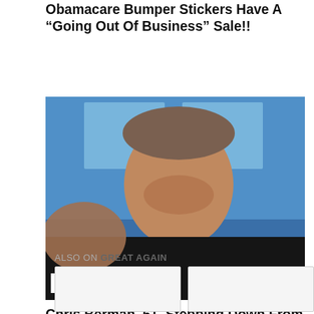Obamacare Bumper Stickers Have A “Going Out Of Business” Sale!!
[Figure (photo): Photo of a smiling older man with grey hair, with the text 'BOOMER' overlaid at the bottom of the image in large white block letters]
Chris Berman, 61, Stepping Down From Top ESPN Host After 37 Years
ALSO ON GREAT AGAIN
[Figure (other): Two rectangular card placeholders side by side under 'Also On Great Again' section]